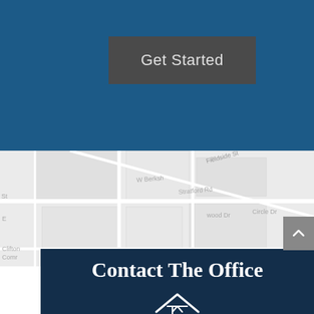[Figure (screenshot): Blue background section with a dark gray 'Get Started' button centered in the upper portion of the page]
Get Started
[Figure (map): Google Maps style street map showing roads including W Berkshire, Fieldside St, Stratford Rd, Circle Dr, Clifton, and other streets in a light gray and white color scheme]
Contact The Office
[Figure (logo): White house/building logo icon partially visible at the bottom of the dark navy contact section]